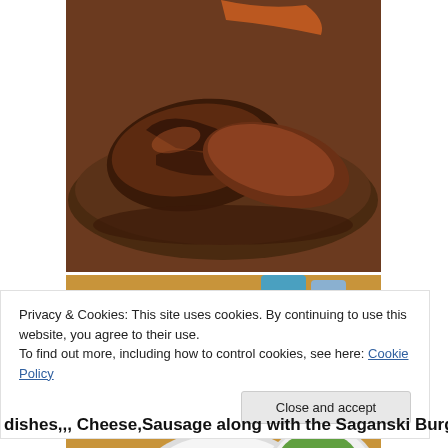[Figure (photo): Close-up photo of grilled/seared meat on a metal pan, with charred surface and juices visible]
[Figure (photo): Table spread with multiple dishes including green beans, tomatoes, sausages, salad, and bread in baskets, with drinks visible in background]
Privacy & Cookies: This site uses cookies. By continuing to use this website, you agree to their use.
To find out more, including how to control cookies, see here: Cookie Policy
Close and accept
dishes,,, Cheese,Sausage along with the Saganski Burger